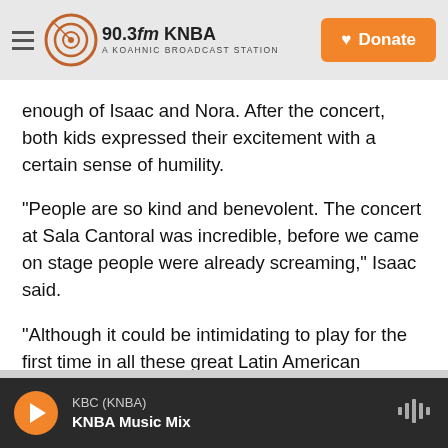90.3fm KNBA — A KOAHNIC BROADCAST STATION | Donate
enough of Isaac and Nora. After the concert, both kids expressed their excitement with a certain sense of humility.
"People are so kind and benevolent. The concert at Sala Cantoral was incredible, before we came on stage people were already screaming," Isaac said.
"Although it could be intimidating to play for the first time in all these great Latin American theaters, the public receives us with so much love, it's reassuring and it gives us strength," Nora adds.
KBC (KNBA) | KNBA Music Mix